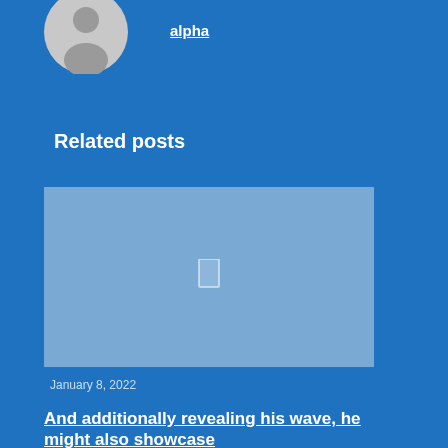[Figure (illustration): Generic user avatar circle with person silhouette icon, gray tones]
alpha
Related posts
[Figure (photo): Light blue placeholder image with a small white image icon in the center]
January 8, 2022
And additionally revealing his wave, he might also showcase